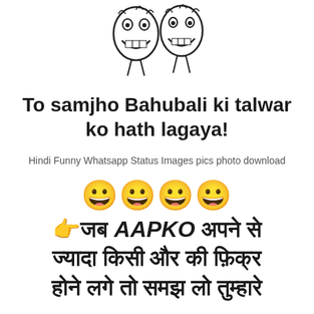[Figure (illustration): Troll face cartoon sketch showing two laughing faces]
To samjho Bahubali ki talwar ko hath lagaya!
Hindi Funny Whatsapp Status Images pics photo download
[Figure (illustration): Four smiley face emojis in a row]
👉जब AAPKO अपने से ज्यादा किसी और की फ़िक्र होने लगे तो समझ लो तुम्हारे